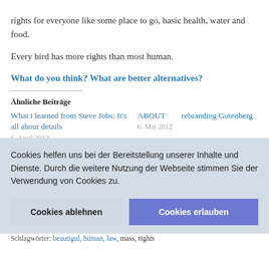rights for everyone like some place to go, basic health, water and food.
Every bird has more rights than most human.
What do you think? What are better alternatives?
Ähnliche Beiträge
What i learned from Steve Jobs: It's all about details
6. April 2012
ABOUT rebranding Gutenberg
6. Mai 2012
Cookies helfen uns bei der Bereitstellung unserer Inhalte und Dienste. Durch die weitere Nutzung der Webseite stimmen Sie der Verwendung von Cookies zu.
Cookies ablehnen
Cookies erlauben
unmonsterred
Schlagwörter: beautigul, human, law, mass, rights